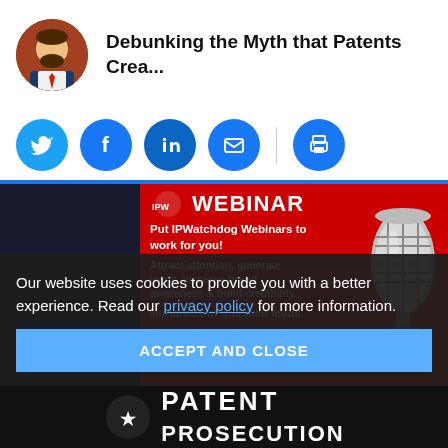Debunking the Myth that Patents Crea...
[Figure (infographic): Social sharing icons row: Twitter (blue bird), Facebook (blue f), LinkedIn (blue in), Email (blue envelope), separator, Print (blue printer)]
[Figure (infographic): IPWatchdog Webinar advertisement banner on red background with microphone image. Text: WEBINAR. Put IPWatchdog Webinars to work for you! Attract attention, generate leads, increase brand awareness & build credibility. Hundreds of qualified leads. Without the travel expenses!]
Our website uses cookies to provide you with a better experience. Read our privacy policy for more information.
ACCEPT AND CLOSE
[Figure (infographic): Bottom dark banner with text PATENT PROSECUTION]